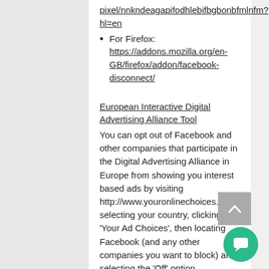pixel/nnkndeagapifodhlebifbgbonbfmlnfm?hl=en
For Firefox: https://addons.mozilla.org/en-GB/firefox/addon/facebook-disconnect/
European Interactive Digital Advertising Alliance Tool
You can opt out of Facebook and other companies that participate in the Digital Advertising Alliance in Europe from showing you interest based ads by visiting http://www.youronlinechoices.com, selecting your country, clicking ‘Your Ad Choices’, then locating Facebook (and any other companies you want to block) and selecting the ‘Off’ option.
Copyright, credit and logo
This Cookies Policy is based on a templ provided by GDPR Privacy Policy. For further information, please visit https://gdprprivacypolicy.org